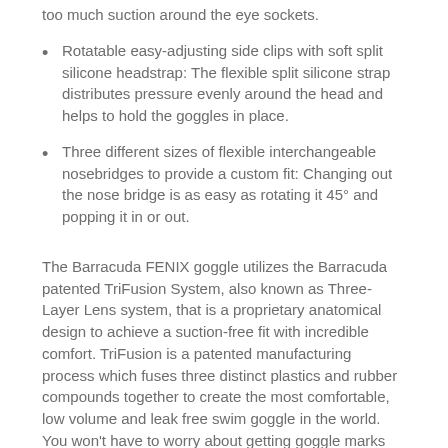too much suction around the eye sockets.
Rotatable easy-adjusting side clips with soft split silicone headstrap: The flexible split silicone strap distributes pressure evenly around the head and helps to hold the goggles in place.
Three different sizes of flexible interchangeable nosebridges to provide a custom fit: Changing out the nose bridge is as easy as rotating it 45° and popping it in or out.
The Barracuda FENIX goggle utilizes the Barracuda patented TriFusion System, also known as Three-Layer Lens system, that is a proprietary anatomical design to achieve a suction-free fit with incredible comfort. TriFusion is a patented manufacturing process which fuses three distinct plastics and rubber compounds together to create the most comfortable, low volume and leak free swim goggle in the world. You won't have to worry about getting goggle marks after swimming!